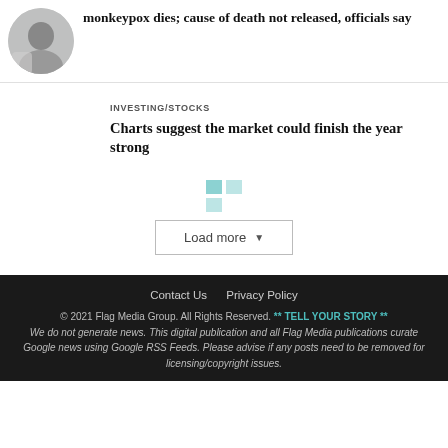[Figure (photo): Circular cropped photo of a person, partially visible, used as article thumbnail]
monkeypox dies; cause of death not released, officials say
INVESTING/STOCKS
Charts suggest the market could finish the year strong
[Figure (logo): Small teal pixel/grid logo icon for load more section]
Load more
Contact Us   Privacy Policy
© 2021 Flag Media Group. All Rights Reserved. ** TELL YOUR STORY **
We do not generate news. This digital publication and all Flag Media publications curate Google news using Google RSS Feeds. Please advise if any posts need to be removed for licensing/copyright issues.